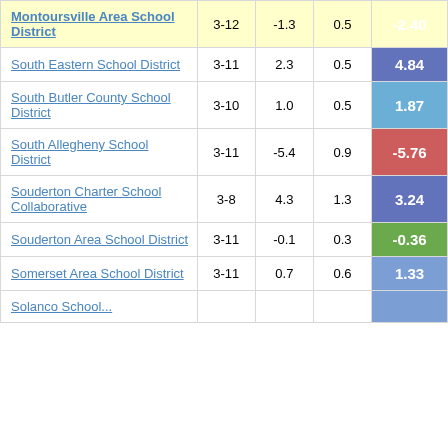| District | Grades | Col3 | Col4 | Score |
| --- | --- | --- | --- | --- |
| Montoursville Area School District | 3-12 | -1.3 | 0.5 | -2.40 |
| South Eastern School District | 3-11 | 2.3 | 0.5 | 4.84 |
| South Butler County School District | 3-10 | 1.0 | 0.5 | 1.87 |
| South Allegheny School District | 3-11 | -5.4 | 0.9 | -5.76 |
| Souderton Charter School Collaborative | 3-8 | 4.3 | 1.3 | 3.24 |
| Souderton Area School District | 3-11 | -0.1 | 0.3 | -0.36 |
| Somerset Area School District | 3-11 | 0.7 | 0.6 | 1.33 |
| Solanco School District (partial) | ... | ... | ... | ... |